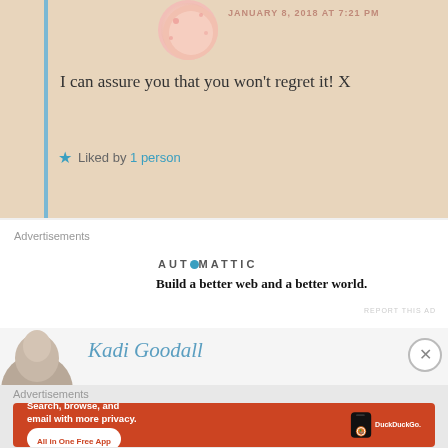JANUARY 8, 2018 AT 7:21 PM
I can assure you that you won't regret it! X
★ Liked by 1 person
Advertisements
AUTOMATTIC
Build a better web and a better world.
REPORT THIS AD
Kadi Goodall
Advertisements
[Figure (screenshot): DuckDuckGo advertisement banner: orange background with text 'Search, browse, and email with more privacy. All in One Free App' and a phone showing the DuckDuckGo logo]